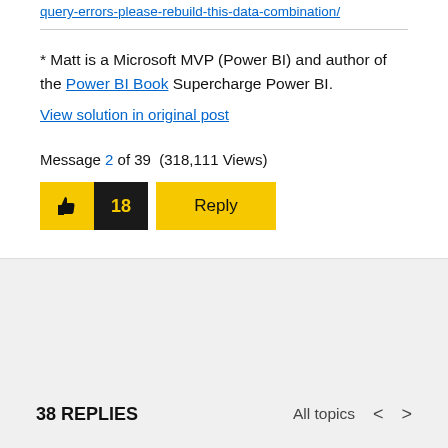query-errors-please-rebuild-this-data-combination/
* Matt is a Microsoft MVP (Power BI) and author of the Power BI Book Supercharge Power BI.
View solution in original post
Message 2 of 39 (318,111 Views)
[Figure (other): Like button with thumbs up icon and count 18, followed by Reply button]
38 REPLIES
All topics < >